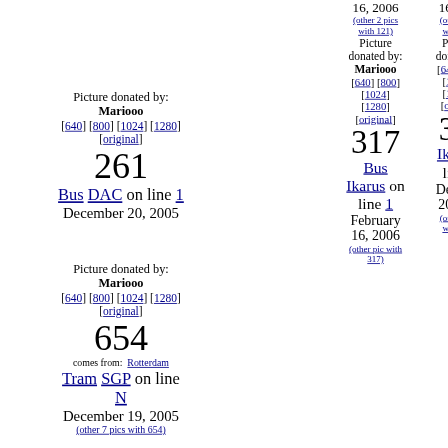Picture donated by: Mariooo [640] [800] [1024] [1280] [original]
261
Bus DAC on line 1 December 20, 2005
Picture donated by: Mariooo [640] [800] [1024] [1280] [original]
654
comes from: Rotterdam Tram SGP on line N December 19, 2005 (other 7 pics with 654)
16, 2006 (other 2 pics with 121)
Picture donated by: Mariooo [640] [800] [1024] [1280] [original]
317
Bus Ikarus on line 1 February 16, 2006 (other pic with 317)